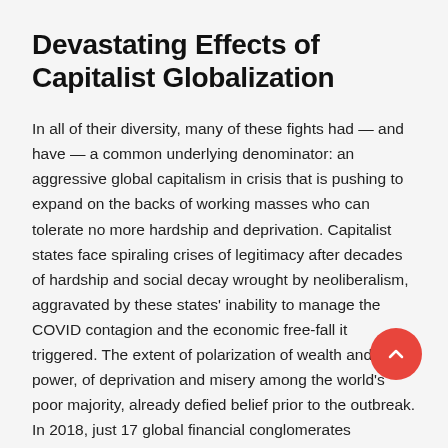Devastating Effects of Capitalist Globalization
In all of their diversity, many of these fights had — and have — a common underlying denominator: an aggressive global capitalism in crisis that is pushing to expand on the backs of working masses who can tolerate no more hardship and deprivation. Capitalist states face spiraling crises of legitimacy after decades of hardship and social decay wrought by neoliberalism, aggravated by these states' inability to manage the COVID contagion and the economic free-fall it triggered. The extent of polarization of wealth and power, of deprivation and misery among the world's poor majority, already defied belief prior to the outbreak. In 2018, just 17 global financial conglomerates collectively managed $41.1 trillion dollars, more than half the gross domestic product of the entire planet. That same year, the richest 1 percent of humanity led by 36 million